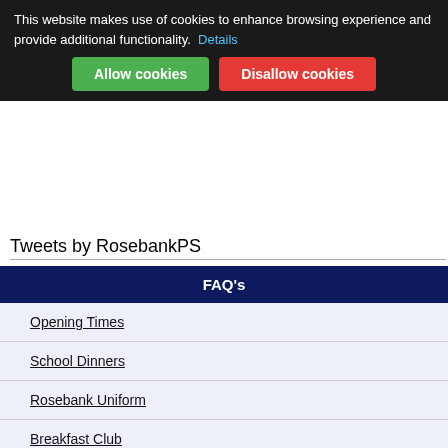This website makes use of cookies to enhance browsing experience and provide additional functionality. Details
Allow cookies
Disallow cookies
Tweets by RosebankPS
FAQ's
Opening Times
School Dinners
Rosebank Uniform
Breakfast Club
Out of School Club
Privacy Policy